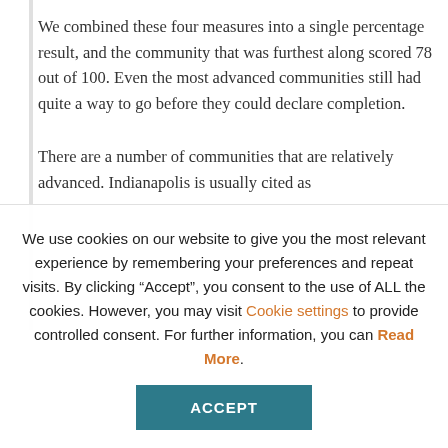We combined these four measures into a single percentage result, and the community that was furthest along scored 78 out of 100. Even the most advanced communities still had quite a way to go before they could declare completion.
There are a number of communities that are relatively advanced. Indianapolis is usually cited as
We use cookies on our website to give you the most relevant experience by remembering your preferences and repeat visits. By clicking “Accept”, you consent to the use of ALL the cookies. However, you may visit Cookie settings to provide controlled consent. For further information, you can Read More.